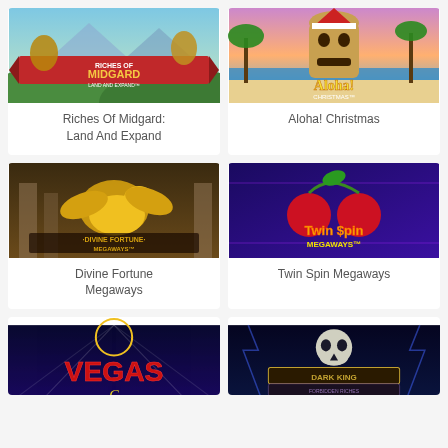[Figure (illustration): Riches of Midgard: Land and Expand slot game banner with fantasy characters]
Riches Of Midgard: Land And Expand
[Figure (illustration): Aloha! Christmas slot game banner with tropical Christmas tiki theme]
Aloha! Christmas
[Figure (illustration): Divine Fortune Megaways slot game banner with golden winged horse]
Divine Fortune Megaways
[Figure (illustration): Twin Spin Megaways slot game banner with cherries and slot title]
Twin Spin Megaways
[Figure (illustration): Vegas slot game banner partially visible at bottom]
[Figure (illustration): Dark King: Forbidden Riches slot game banner partially visible at bottom]